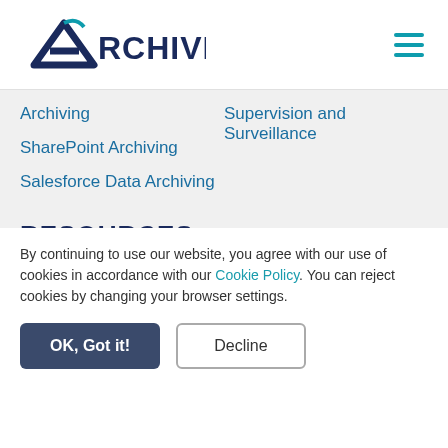Archive360
Archiving
Supervision and Surveillance
SharePoint Archiving
Salesforce Data Archiving
RESOURCES
All Resources
Case Studies
Blog
Podcast
[Figure (screenshot): Astrid chatbot popup with teal header and avatar]
Hope you enjoy what you're reading. Tell me
By continuing to use our website, you agree with our use of cookies in accordance with our Cookie Policy. You can reject cookies by changing your browser settings.